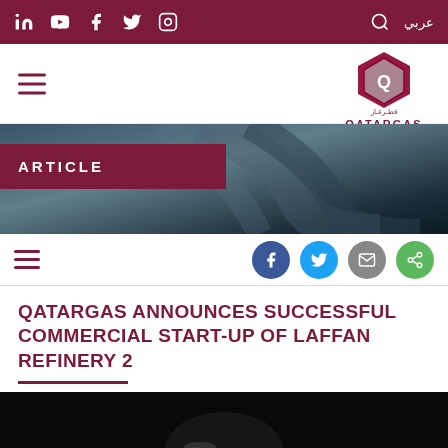Social media icons bar: LinkedIn, YouTube, Facebook, Twitter, Instagram | Search | عربي
[Figure (logo): Qatargas logo with Arabic text and navigation hamburger menu]
[Figure (photo): Hero banner with dark abstract background and ARTICLE label in dark red]
ARTICLE
[Figure (infographic): Share bar with hamburger menu and social share buttons: Facebook, Twitter, Email, Share]
QATARGAS ANNOUNCES SUCCESSFUL COMMERCIAL START-UP OF LAFFAN REFINERY 2
[Figure (photo): Dark photo showing metallic objects, article header image]